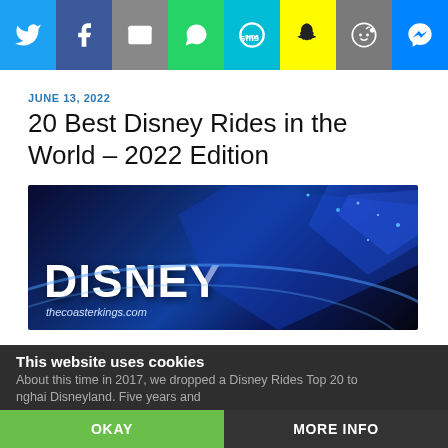[Figure (infographic): Social media share buttons row: Twitter (blue), Facebook (dark blue), Email (grey), WhatsApp (green), SMS (light blue), Snapchat (yellow), Reddit (grey), Messenger (blue)]
JUNE 13, 2022
20 Best Disney Rides in the World – 2022 Edition
[Figure (photo): Dark blue themed Disney banner image with 'DISNEY' in large white bold text and 'thecoasterkings.com' in italic below, set against a blue geometric/futuristic background]
This website uses cookies
About this time in 2017, we dropped a Disney Rides Top 20 to
nghai Disneyland. Five years and
OKAY
MORE INFO